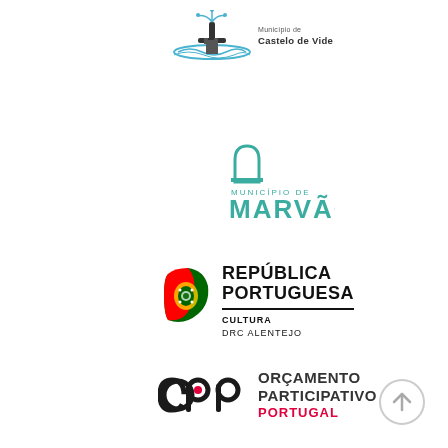[Figure (logo): Município de Castelo de Vide logo with water/fountain graphic and text 'Município de Castelo de Vide']
[Figure (logo): Município de Marvão logo with arch icon, text 'MUNICÍPIO DE' above 'MARVÃO' in teal]
[Figure (logo): República Portuguesa logo with Portuguese flag emblem, bold text 'REPÚBLICA PORTUGUESA', divider line, then 'CULTURA' and 'DRC ALENTEJO']
[Figure (logo): Orçamento Participativo Portugal logo with stylized 'opp' lettering in black and red dot, text 'ORÇAMENTO PARTICIPATIVO PORTUGAL' in grey/red]
[Figure (other): Circular arrow-up button/icon in light grey on bottom right]